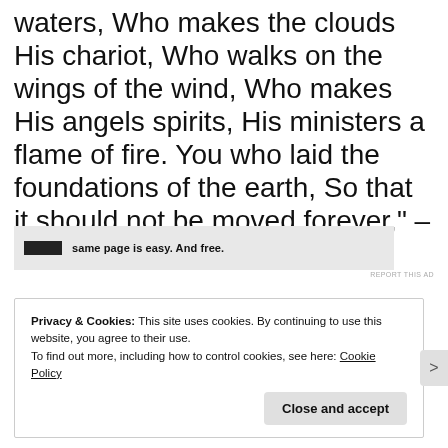waters, Who makes the clouds His chariot, Who walks on the wings of the wind, Who makes His angels spirits, His ministers a flame of fire. You who laid the foundations of the earth, So that it should not be moved forever," – Psalm 104:1-5
[Figure (other): Advertisement banner with black rectangle placeholder and text 'same page is easy. And free.']
REPORT THIS AD
Privacy & Cookies: This site uses cookies. By continuing to use this website, you agree to their use.
To find out more, including how to control cookies, see here: Cookie Policy
Close and accept